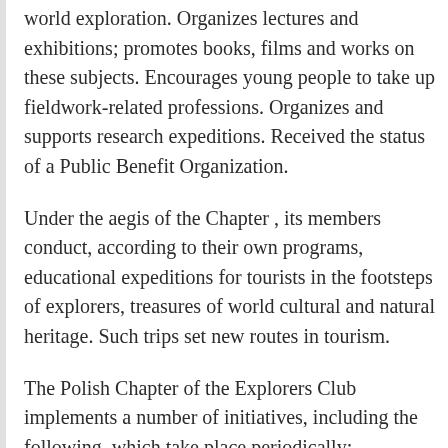world exploration. Organizes lectures and exhibitions; promotes books, films and works on these subjects. Encourages young people to take up fieldwork-related professions. Organizes and supports research expeditions. Received the status of a Public Benefit Organization.
Under the aegis of the Chapter , its members conduct, according to their own programs, educational expeditions for tourists in the footsteps of explorers, treasures of world cultural and natural heritage. Such trips set new routes in tourism.
The Polish Chapter of the Explorers Club implements a number of initiatives, including the following, which take place periodically: